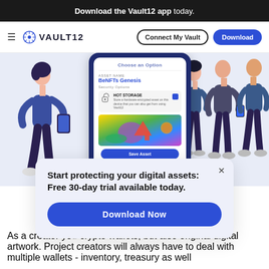Download the Vault12 app today.
[Figure (screenshot): Vault12 website navigation bar with hamburger menu, Vault12 logo, Connect My Vault button, and Download button]
[Figure (screenshot): Vault12 app hero section showing phone app mockup with BeNFTs Genesis asset, security options, hot storage toggle, NFT artwork, and Save Asset button. Left side shows illustration of woman with phone, right side shows illustration of three people.]
[Figure (infographic): Popup overlay with title 'Start protecting your digital assets: Free 30-day trial available today.' and blue Download Now button]
As a creator you crypto wallets, but also original digital artwork. Project creators will always have to deal with multiple wallets - inventory, treasury as well